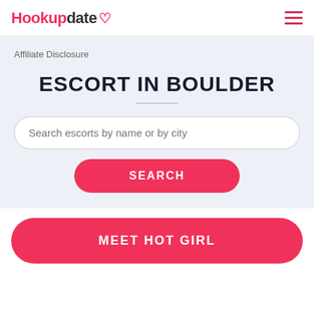Hookupdate [logo with heart icon] [hamburger menu]
Affiliate Disclosure
ESCORT IN BOULDER
Search escorts by name or by city
SEARCH
MEET HOT GIRL